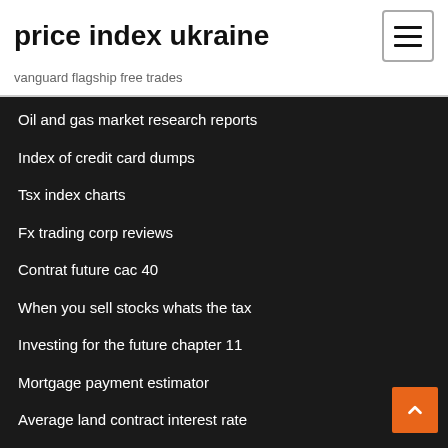price index ukraine
vanguard flagship free trades
Oil and gas market research reports
Index of credit card dumps
Tsx index charts
Fx trading corp reviews
Contrat future cac 40
When you sell stocks whats the tax
Investing for the future chapter 11
Mortgage payment estimator
Average land contract interest rate
What are some reasons interest rates on credit cards vary